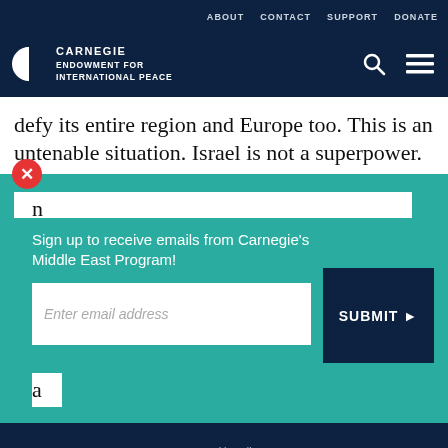ABOUT   CONTACT   SUPPORT   DONATE
[Figure (logo): Carnegie Endowment for International Peace logo with circular icon and text]
defy its entire region and Europe too. This is an untenable situation. Israel is not a superpower. It is
[Figure (screenshot): Email signup popup overlay with teal background. Heading: Sign up to receive emails from Carnegie’s Middle East Program! Input field: Enter email address. Button: SUBMIT ►]
our cookie policy.
Share toolbar with print, link, Facebook, Twitter, WhatsApp, Messenger, LinkedIn icons